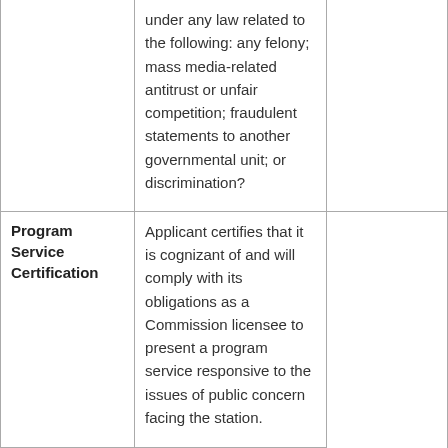|  | under any law related to the following: any felony; mass media-related antitrust or unfair competition; fraudulent statements to another governmental unit; or discrimination? |  |
| Program Service Certification | Applicant certifies that it is cognizant of and will comply with its obligations as a Commission licensee to present a program service responsive to the issues of public concern facing the station. |  |